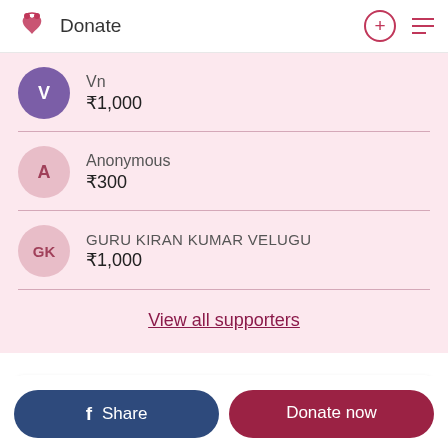Donate
Vn — ₹1,000
Anonymous — ₹300
GURU KIRAN KUMAR VELUGU — ₹1,000
View all supporters
zeenath has adopted this →
Share
Donate now